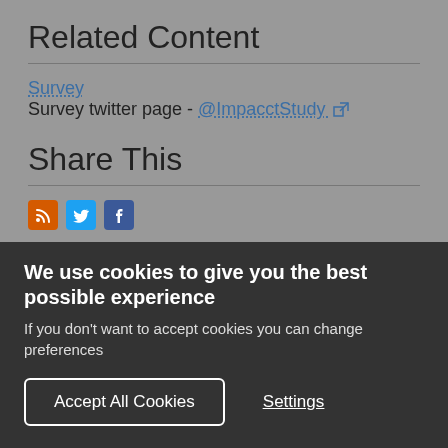Related Content
Survey
Survey twitter page - @ImpacctStudy
Share This
[Figure (infographic): Social media share icons: RSS (orange), Twitter (blue), Facebook (dark blue)]
Notes for Editors
We use cookies to give you the best possible experience
If you don't want to accept cookies you can change preferences
Accept All Cookies
Settings